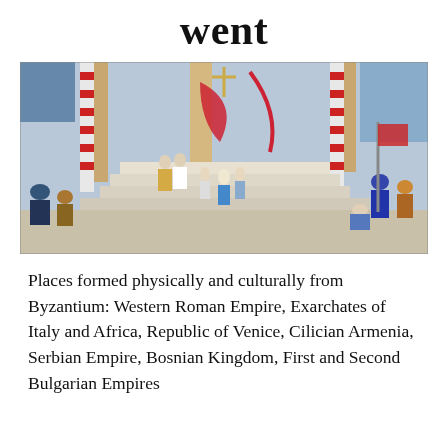went
[Figure (illustration): Historical painting depicting a grand ceremonial scene with Byzantine or medieval figures in ornate robes on steps of a columned building, with soldiers and crowds gathered around. Rich colors of blue, gold, red, and white.]
Places formed physically and culturally from Byzantium: Western Roman Empire, Exarchates of Italy and Africa, Republic of Venice, Cilician Armenia, Serbian Empire, Bosnian Kingdom, First and Second Bulgarian Empires